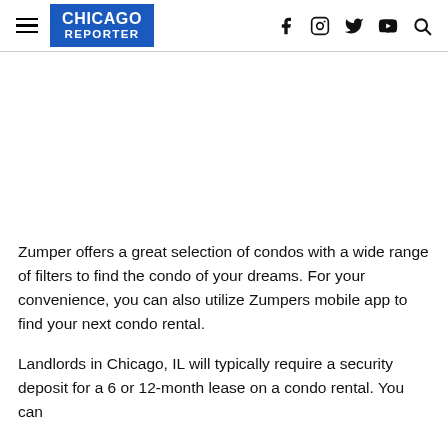CHICAGO REPORTER
[Figure (other): Empty white advertisement space]
Zumper offers a great selection of condos with a wide range of filters to find the condo of your dreams. For your convenience, you can also utilize Zumpers mobile app to find your next condo rental.
Landlords in Chicago, IL will typically require a security deposit for a 6 or 12-month lease on a condo rental. You can